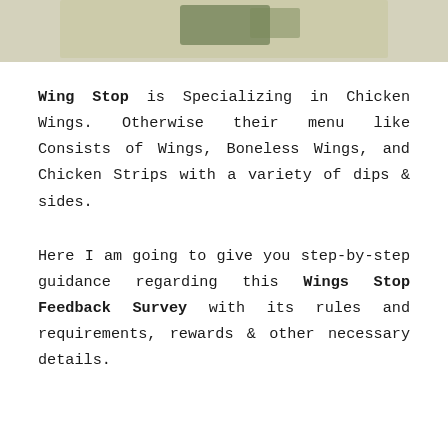[Figure (photo): Top portion of an image showing a Wing Stop restaurant product or branding, partially cropped, with a beige/tan background.]
Wing Stop is Specializing in Chicken Wings. Otherwise their menu like Consists of Wings, Boneless Wings, and Chicken Strips with a variety of dips & sides.
Here I am going to give you step-by-step guidance regarding this Wings Stop Feedback Survey with its rules and requirements, rewards & other necessary details.